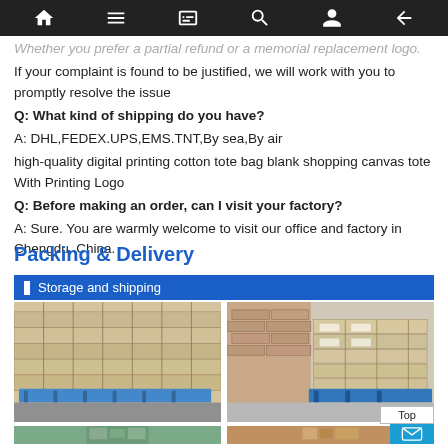Navigation bar with home, menu, book, search, user, back icons
Whether you prefer a partial refund or a memorial replacement logo. If your complaint is found to be justified, we will work with you to promptly resolve the issue
Q: What kind of shipping do you have?
A: DHL,FEDEX.UPS,EMS.TNT,By sea,By air
high-quality digital printing cotton tote bag blank shopping canvas tote With Printing Logo
Q: Before making an order, can I visit your factory?
A: Sure. You are warmly welcome to visit our office and factory in Chengdu, China.
Packing & Delivery
Storage and shipping
[Figure (photo): Two warehouse photos showing pallets of stacked cardboard boxes ready for shipping]